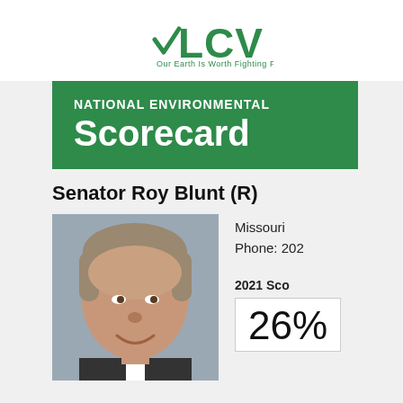[Figure (logo): LCV (League of Conservation Voters) logo with green checkmark and text 'Our Earth Is Worth Fighting For']
NATIONAL ENVIRONMENTAL Scorecard
Senator Roy Blunt (R)
[Figure (photo): Portrait photo of Senator Roy Blunt, an older man with gray-brown hair, smiling, wearing a suit]
Missouri
Phone: 202...
2021 Score
26%